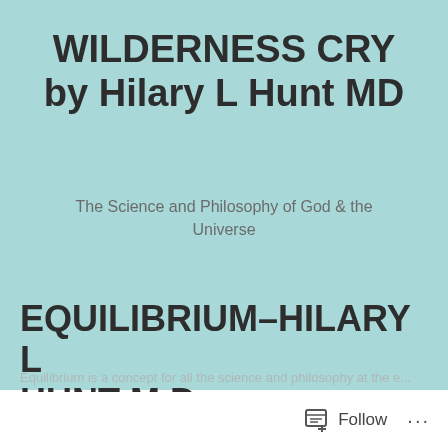WILDERNESS CRY by Hilary L Hunt MD
The Science and Philosophy of God & the Universe
EQUILIBRIUM–HILARY L HUNT M.D.